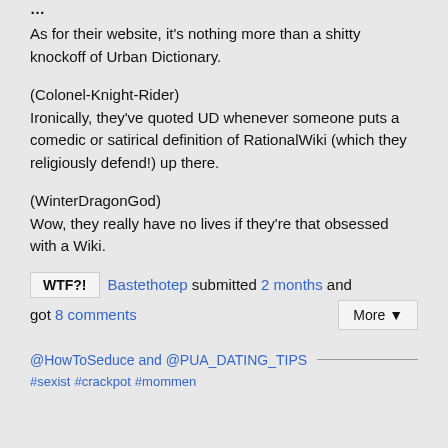As for their website, it's nothing more than a shitty knockoff of Urban Dictionary.
(Colonel-Knight-Rider)
Ironically, they've quoted UD whenever someone puts a comedic or satirical definition of RationalWiki (which they religiously defend!) up there.
(WinterDragonGod)
Wow, they really have no lives if they're that obsessed with a Wiki.
WTF?! Bastethotep submitted 2 months and got 8 comments More ▼
@HowToSeduce and @PUA_DATING_TIPS
#sexist #crackpot #mommen